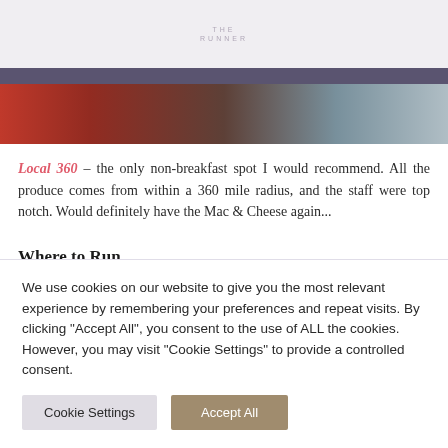THE RUNNER
[Figure (photo): Partial photo strip showing food items in red, brown, and grey tones]
Local 360 – the only non-breakfast spot I would recommend. All the produce comes from within a 360 mile radius, and the staff were top notch. Would definitely have the Mac & Cheese again...
Where to Run
Seattle is actually like...
We use cookies on our website to give you the most relevant experience by remembering your preferences and repeat visits. By clicking "Accept All", you consent to the use of ALL the cookies. However, you may visit "Cookie Settings" to provide a controlled consent.